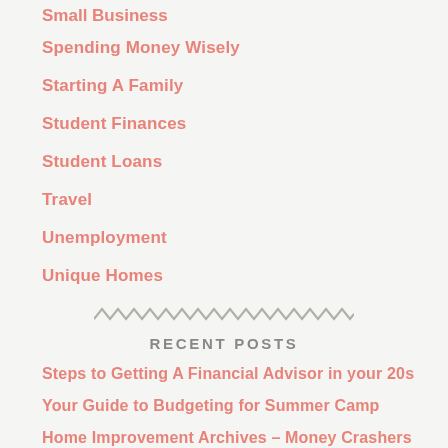Small Business
Spending Money Wisely
Starting A Family
Student Finances
Student Loans
Travel
Unemployment
Unique Homes
RECENT POSTS
Steps to Getting A Financial Advisor in your 20s
Your Guide to Budgeting for Summer Camp
Home Improvement Archives – Money Crashers